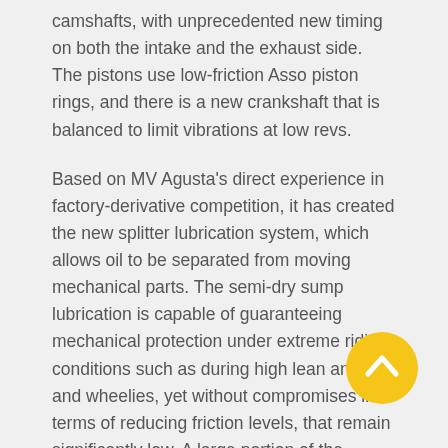camshafts, with unprecedented new timing on both the intake and the exhaust side. The pistons use low-friction Asso piston rings, and there is a new crankshaft that is balanced to limit vibrations at low revs.
Based on MV Agusta's direct experience in factory-derivative competition, it has created the new splitter lubrication system, which allows oil to be separated from moving mechanical parts. The semi-dry sump lubrication is capable of guaranteeing mechanical protection under extreme riding conditions such as during high lean angles and wheelies, yet without compromises in terms of reducing friction levels, that remain significantly low. A large portion of the design and development work has been
[Figure (other): Yellow circular button with upward chevron/arrow icon (scroll-to-top or navigation button)]